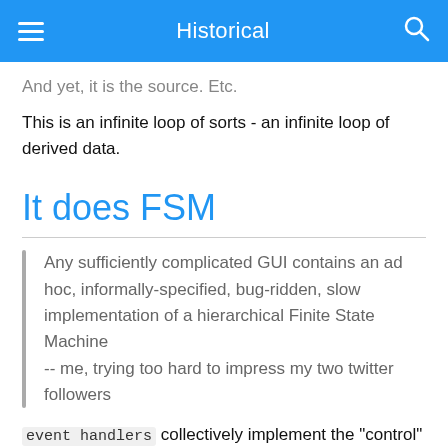Historical
And yet, it is the source. Etc.
This is an infinite loop of sorts - an infinite loop of derived data.
It does FSM
Any sufficiently complicated GUI contains an ad hoc, informally-specified, bug-ridden, slow implementation of a hierarchical Finite State Machine
-- me, trying too hard to impress my two twitter followers
event handlers collectively implement the "control" part of an application. Their logic interprets arriving events in the context of existing state, and they compute